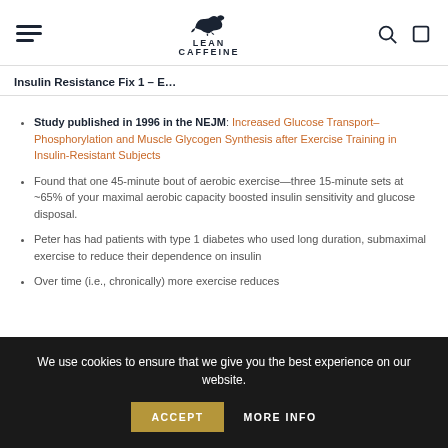Lean Caffeine — Insulin Resistance Fix 1 – E…
Study published in 1996 in the NEJM: Increased Glucose Transport–Phosphorylation and Muscle Glycogen Synthesis after Exercise Training in Insulin-Resistant Subjects
Found that one 45-minute bout of aerobic exercise—three 15-minute sets at ~65% of your maximal aerobic capacity boosted insulin sensitivity and glucose disposal.
Peter has had patients with type 1 diabetes who used long duration, submaximal exercise to reduce their dependence on insulin
Over time (i.e., chronically) more exercise reduces
We use cookies to ensure that we give you the best experience on our website.